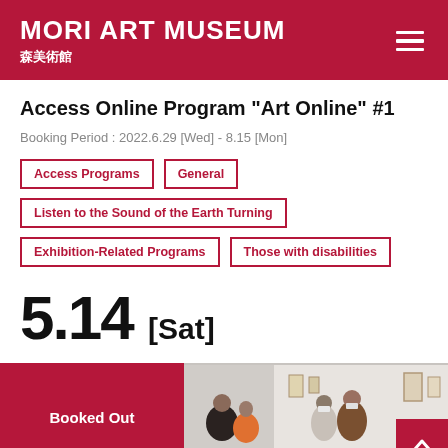MORI ART MUSEUM 森美術館
Access Online Program “Art Online” #1
Booking Period : 2022.6.29 [Wed] - 8.15 [Mon]
Access Programs
General
Listen to the Sound of the Earth Turning
Exhibition-Related Programs
Those with disabilities
5.14 [Sat]
[Figure (photo): Museum gallery interior with visitors standing and talking, artworks on white walls, people wearing masks]
Booked Out